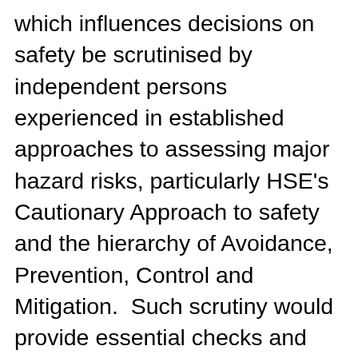which influences decisions on safety be scrutinised by independent persons experienced in established approaches to assessing major hazard risks, particularly HSE's Cautionary Approach to safety and the hierarchy of Avoidance, Prevention, Control and Mitigation.  Such scrutiny would provide essential checks and balances on the scientific advice, helping achieve a rational consensus on what measures should be put in place, and when, to ensure public safety 'so far as is reasonably practicable'.